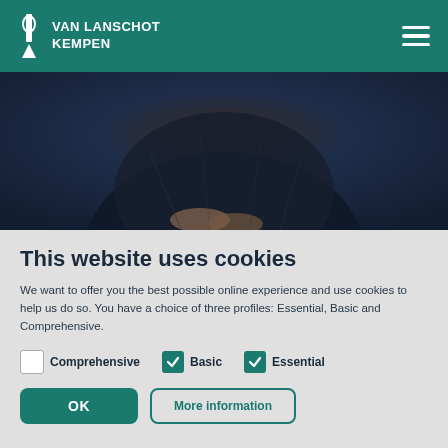VAN LANSCHOT KEMPEN
[Figure (photo): Painting showing a figure in dark clothing with hands clasped, appears to be an old master portrait painting]
This website uses cookies
We want to offer you the best possible online experience and use cookies to help us do so. You have a choice of three profiles: Essential, Basic and Comprehensive.
Comprehensive (unchecked), Basic (checked), Essential (checked)
OK | More information